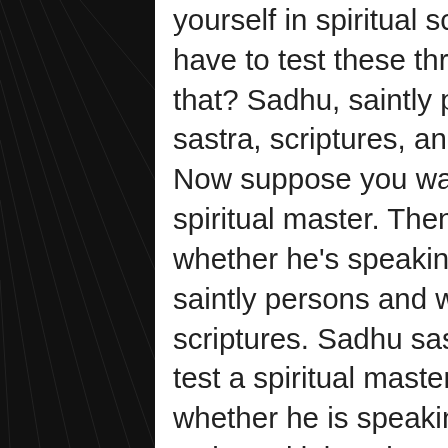yourself in spiritual science, then you have to test these three things. What is that? Sadhu, saintly person. Sadhu, sastra, scriptures, and spiritual master. Now suppose you want to know who is a spiritual master. Then you have to test whether he's speaking just like other saintly persons and whether he's following scriptures. Sadhu sastra. So you have to test a spiritual master by corroborating whether he is speaking according to the scriptural injunction, whether he's speaking to other saintly persons. So in the world, anywhere you go, the standard spiritual master… Take it, Lord Jesus Christ or Buddha or Sankara or Ramanujacarya or Caitanya—nobody will say that you make adjustment here and live peacefully. Everyone will say that you have to extinguish this material existence. Lord Buddha says